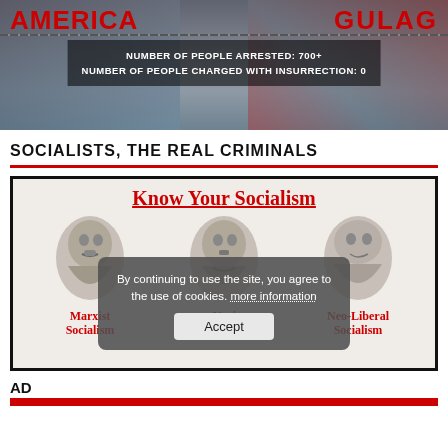[Figure (photo): Banner/meme image showing crowd of protesters with red text overlay. Text reads: NUMBER OF PEOPLE ARRESTED: 700+ / NUMBER OF PEOPLE CHARGED WITH INSURRECTION: 0. Red bold text partially visible: AMERICA GULAG.]
SOCIALISTS, THE REAL CRIMINALS
[Figure (infographic): Infographic titled 'Know Your Socialism' with three greyscale illustrated portraits labeled 'Marxist Socialism', 'Na[zi] Socialism', and 'Neo-Liberal Socialism'. A cookie consent overlay reads: 'By continuing to use the site, you agree to the use of cookies. more information' with an Accept button.]
By continuing to use the site, you agree to the use of cookies. more information
AD